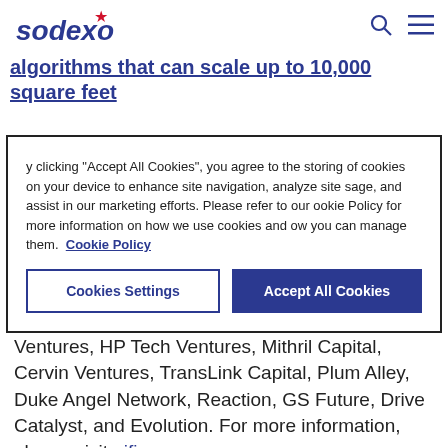sodexo
algorithms that can scale up to 10,000 square feet
By clicking "Accept All Cookies", you agree to the storing of cookies on your device to enhance site navigation, analyze site usage, and assist in our marketing efforts. Please refer to our Cookie Policy for more information on how we use cookies and how you can manage them. Cookie Policy
Cookies Settings | Accept All Cookies
investors including Verizon Ventures, Qualcomm Ventures, HP Tech Ventures, Mithril Capital, Cervin Ventures, TransLink Capital, Plum Alley, Duke Angel Network, Reaction, GS Future, Drive Catalyst, and Evolution. For more information, please visit aifi.com.